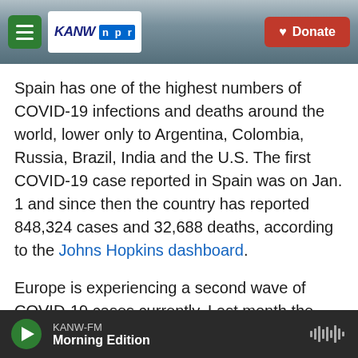[Figure (screenshot): KANW NPR radio website header with hamburger menu, KANW NPR logo, and red Donate button over a mountain landscape background.]
Spain has one of the highest numbers of COVID-19 infections and deaths around the world, lower only to Argentina, Colombia, Russia, Brazil, India and the U.S. The first COVID-19 case reported in Spain was on Jan. 1 and since then the country has reported 848,324 cases and 32,688 deaths, according to the Johns Hopkins dashboard.
Europe is experiencing a second wave of COVID-19 cases currently. Last month the head of the World Health Organization in Europe, Dr. Hans Kluge, warned of "a very serious situation," adding that
[Figure (screenshot): KANW-FM audio player bar at the bottom showing Morning Edition, with green play button and waveform icon.]